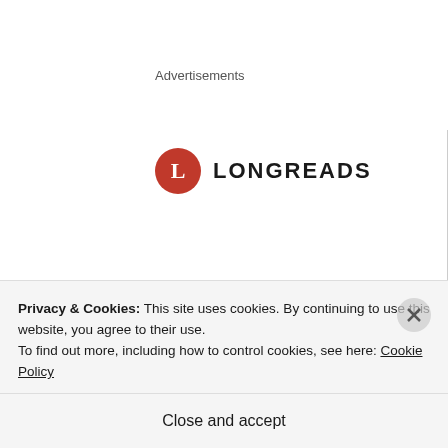Advertisements
[Figure (logo): Longreads logo: red circle with white L, followed by LONGREADS text in bold capitals]
Bringing you the best stories on the
Privacy & Cookies: This site uses cookies. By continuing to use this website, you agree to their use.
To find out more, including how to control cookies, see here: Cookie Policy
Close and accept